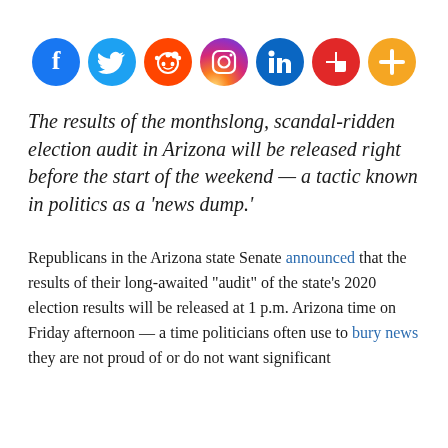[Figure (infographic): Row of seven social media share icons: Facebook (dark blue), Twitter (light blue), Reddit (orange-red), Instagram (gradient purple-orange), LinkedIn (blue), Flipboard (red), and a plus/more button (orange)]
The results of the monthslong, scandal-ridden election audit in Arizona will be released right before the start of the weekend — a tactic known in politics as a 'news dump.'
Republicans in the Arizona state Senate announced that the results of their long-awaited "audit" of the state's 2020 election results will be released at 1 p.m. Arizona time on Friday afternoon — a time politicians often use to bury news they are not proud of or do not want significant